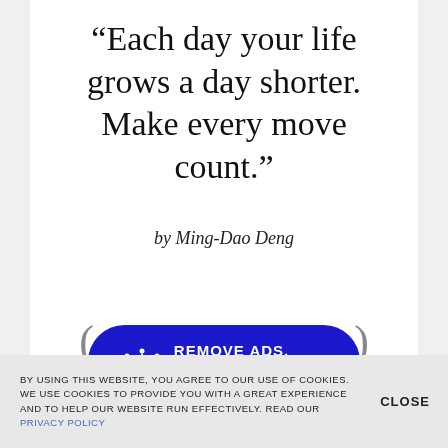“Each day your life grows a day shorter. Make every move count.”
by Ming-Dao Deng
[Figure (other): Blue pill-shaped button with crown icon and text REMOVE ADS. UPGRADE TO PRO]
BY USING THIS WEBSITE, YOU AGREE TO OUR USE OF COOKIES. WE USE COOKIES TO PROVIDE YOU WITH A GREAT EXPERIENCE AND TO HELP OUR WEBSITE RUN EFFECTIVELY. READ OUR PRIVACY POLICY